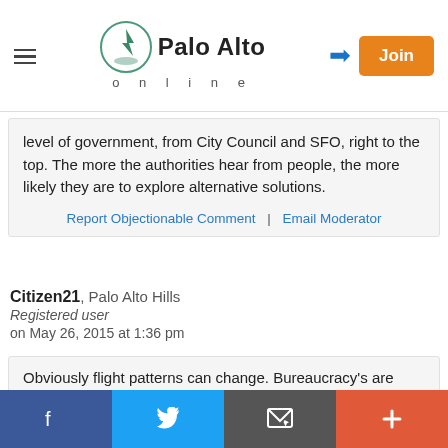Palo Alto online
level of government, from City Council and SFO, right to the top. The more the authorities hear from people, the more likely they are to explore alternative solutions.
Report Objectionable Comment | Email Moderator
Citizen21, Palo Alto Hills
Registered user
on May 26, 2015 at 1:36 pm
Obviously flight patterns can change. Bureaucracy's are bureaucracy's. It's a great comparison.
Report Objectionable Comment | Email Moderator
[Figure (other): Social media share bar with Facebook, Twitter, email, and plus buttons]